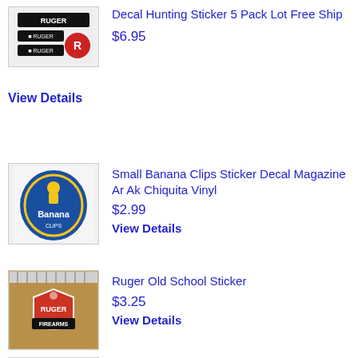[Figure (photo): Ruger logo stickers: black rectangular stickers with RUGER text and red phoenix logo on white background]
Decal Hunting Sticker 5 Pack Lot Free Ship
$6.95
View Details
[Figure (photo): Round blue sticker with yellow banana logo and text 'Banana Clips' in white]
Small Banana Clips Sticker Decal Magazine Ar Ak Chiquita Vinyl
$2.99
View Details
[Figure (photo): Ruger Firearms old school shield-shaped sticker on wood surface next to ruler]
Ruger Old School Sticker
$3.25
View Details
[Figure (photo): Partial view of sticker next to ruler at bottom of page]
Aguila Ammoguns Are Hungry Stickersdecal Gun Tactical Ar Ak